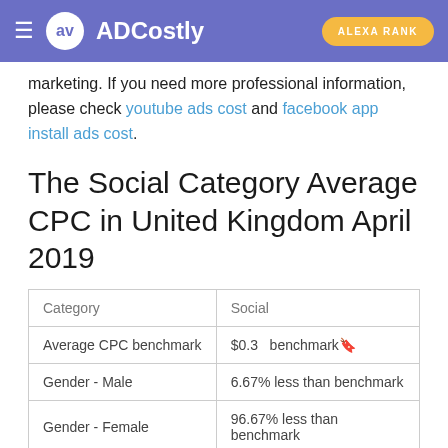ADCostly | ALEXA RANK
marketing. If you need more professional information, please check youtube ads cost and facebook app install ads cost.
The Social Category Average CPC in United Kingdom April 2019
| Category | Social |
| --- | --- |
| Average CPC benchmark | $0.3  benchmark🔖 |
| Gender - Male | 6.67% less than benchmark |
| Gender - Female | 96.67% less than benchmark |
|  |  |